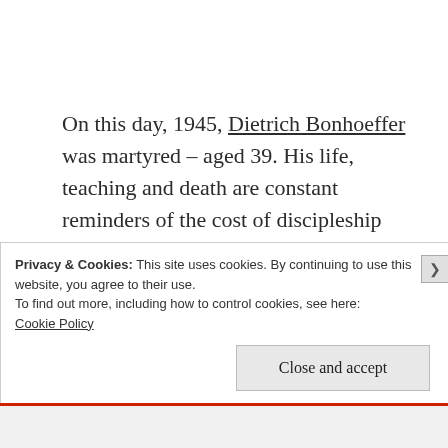On this day, 1945, Dietrich Bonhoeffer was martyred – aged 39. His life, teaching and death are constant reminders of the cost of discipleship and the need for political engagement. Here is one of his pearls:
Privacy & Cookies: This site uses cookies. By continuing to use this website, you agree to their use.
To find out more, including how to control cookies, see here:
Cookie Policy

Close and accept